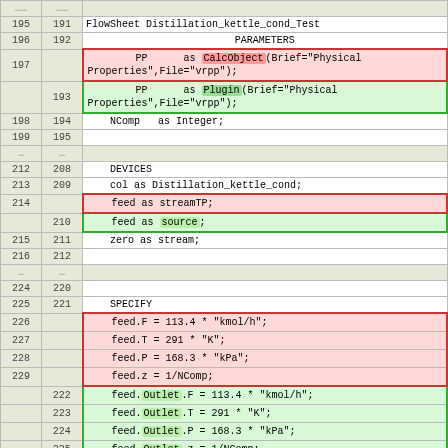| col1 | col2 | code |
| --- | --- | --- |
| 195 | 191 | FlowSheet Distillation_kettle_cond_Test |
| 196 | 192 |     PARAMETERS |
| 197 |  |     PP      as CalcObject(Brief="Physical Properties",File="vrpp"); |
|  | 193 |     PP      as Plugin(Brief="Physical Properties",File="vrpp"); |
| 198 | 194 |     NComp   as Integer; |
| 199 | 195 |  |
| ... | ... |  |
| 212 | 208 |     DEVICES |
| 213 | 209 |     col as Distillation_kettle_cond; |
| 214 |  |     feed as streamTP; |
|  | 210 |     feed as source; |
| 215 | 211 |     zero as stream; |
| 216 | 212 |  |
| ... | ... |  |
| 224 | 220 |  |
| 225 | 221 |     SPECIFY |
| 226 |  |     feed.F = 113.4 * "kmol/h"; |
| 227 |  |     feed.T = 291 * "K"; |
| 228 |  |     feed.P = 168.3 * "kPa"; |
| 229 |  |     feed.z = 1/NComp; |
|  | 222 |     feed.Outlet.F = 113.4 * "kmol/h"; |
|  | 223 |     feed.Outlet.T = 291 * "K"; |
|  | 224 |     feed.Outlet.P = 168.3 * "kPa"; |
|  | 225 |     feed.Outlet.z = 1/NComp; |
| 230 | 226 |  |
| 231 | 227 |     zero.F = 0 * "kmol/h"; |
| ... | ... |  |
| 277 | 273 |  |
| 278 | 274 |     OPTIONS |